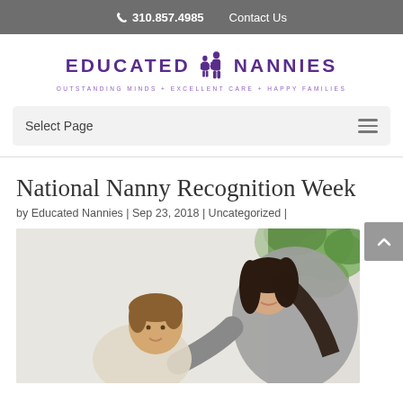310.857.4985   Contact Us
[Figure (logo): Educated Nannies logo with purple text and silhouette icon. Tagline: OUTSTANDING MINDS + EXCELLENT CARE + HAPPY FAMILIES]
Select Page
National Nanny Recognition Week
by Educated Nannies | Sep 23, 2018 | Uncategorized |
[Figure (photo): A smiling woman with dark hair leaning toward a young child with brown hair, with green tropical plant in background, bright indoor setting.]